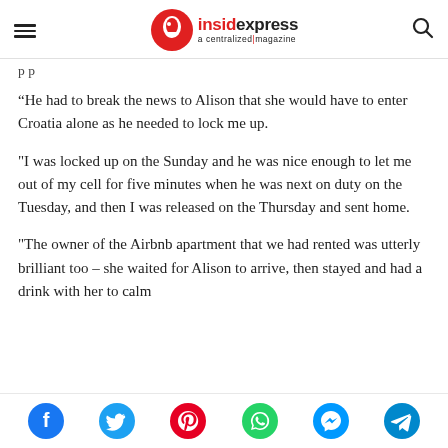insidexpress a centralized magazine
p p
“He had to break the news to Alison that she would have to enter Croatia alone as he needed to lock me up.
"I was locked up on the Sunday and he was nice enough to let me out of my cell for five minutes when he was next on duty on the Tuesday, and then I was released on the Thursday and sent home.
"The owner of the Airbnb apartment that we had rented was utterly brilliant too – she waited for Alison to arrive, then stayed and had a drink with her to calm
Social share icons: Facebook, Twitter, Pinterest, WhatsApp, Messenger, Telegram